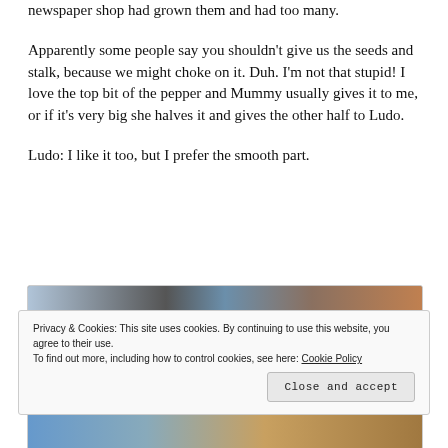newspaper shop had grown them and had too many.
Apparently some people say you shouldn't give us the seeds and stalk, because we might choke on it. Duh. I'm not that stupid! I love the top bit of the pepper and Mummy usually gives it to me, or if it's very big she halves it and gives the other half to Ludo.
Ludo: I like it too, but I prefer the smooth part.
[Figure (photo): Photo of what appears to be a small animal (guinea pig or similar) with hay/straw visible, partially obscured by cookie consent banner]
Privacy & Cookies: This site uses cookies. By continuing to use this website, you agree to their use.
To find out more, including how to control cookies, see here: Cookie Policy